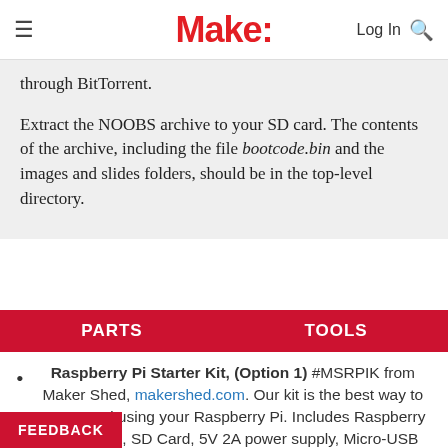Make: | Log In
through BitTorrent.
Extract the NOOBS archive to your SD card. The contents of the archive, including the file bootcode.bin and the images and slides folders, should be in the top-level directory.
PARTS    TOOLS
Raspberry Pi Starter Kit, (Option 1) #MSRPIK from Maker Shed, makershed.com. Our kit is the best way to get started using your Raspberry Pi. Includes Raspberry Pi Model B, SD Card, 5V 2A power supply, Micro-USB and HDMI cables, custom MAKE: Pi enclosure